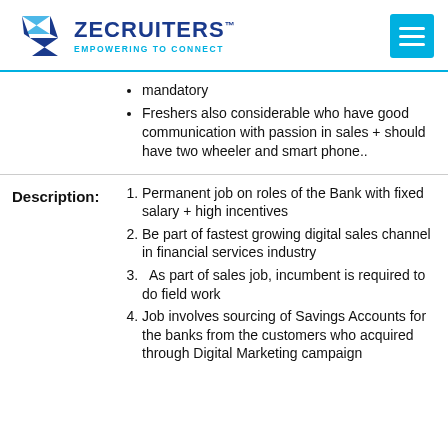[Figure (logo): Zecruiters logo with blue Z-arrow icon and text ZECRUITERS Empowering to Connect]
mandatory
Freshers also considerable who have good communication with passion in sales + should have two wheeler and smart phone..
Description:
Permanent job on roles of the Bank with fixed salary + high incentives
Be part of fastest growing digital sales channel in financial services industry
As part of sales job, incumbent is required to do field work
Job involves sourcing of Savings Accounts for the banks from the customers who acquired through Digital Marketing campaign